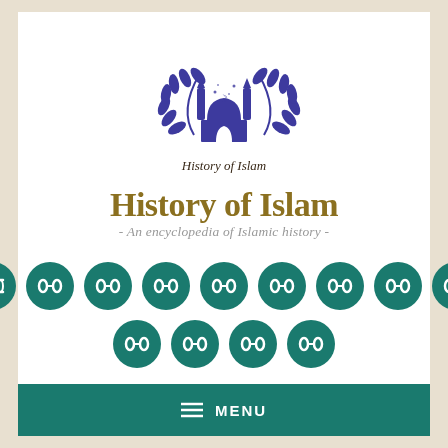[Figure (logo): History of Islam logo: purple mosque with minarets and olive/laurel branches wreath surrounding it, with 'History of Islam' text below in italic serif font]
History of Islam
- An encyclopedia of Islamic history -
[Figure (infographic): 13 teal circle icons arranged in two rows (9 on top, 4 on bottom), each containing a chain-link or infinity-loop symbol in white]
≡ MENU